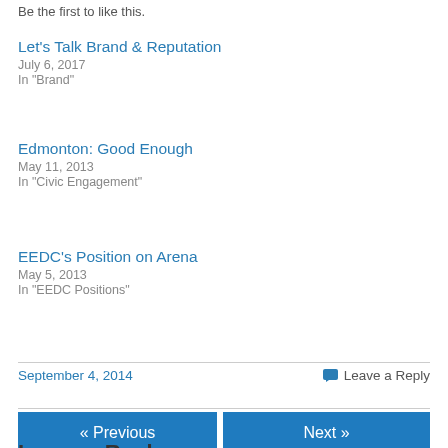Be the first to like this.
Let's Talk Brand & Reputation
July 6, 2017
In "Brand"
Edmonton: Good Enough
May 11, 2013
In "Civic Engagement"
EEDC's Position on Arena
May 5, 2013
In "EEDC Positions"
September 4, 2014
Leave a Reply
« Previous
Next »
Leave a Reply